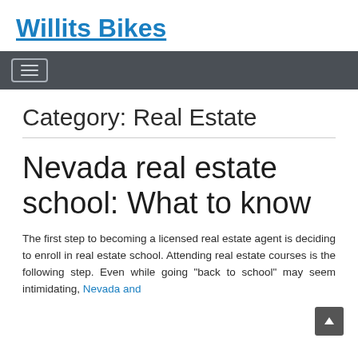Willits Bikes
Category: Real Estate
Nevada real estate school: What to know
The first step to becoming a licensed real estate agent is deciding to enroll in real estate school. Attending real estate courses is the following step. Even while going "back to school" may seem intimidating, Nevada and